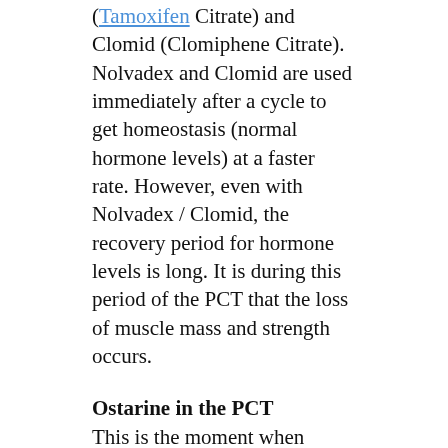(Tamoxifen Citrate) and Clomid (Clomiphene Citrate). Nolvadex and Clomid are used immediately after a cycle to get homeostasis (normal hormone levels) at a faster rate. However, even with Nolvadex / Clomid, the recovery period for hormone levels is long. It is during this period of the PCT that the loss of muscle mass and strength occurs.
Ostarine in the PCT
This is the moment when SARMs like Osstarine are offering their benefits. Ostarine binds to the musculoskeletal androgen receptor, continuing to activate the androgen receptor, while nolvadex and clomid return natural testosterone production to normal.
As a result of this continued activation of receptors in muscles, loss of muscle mass and